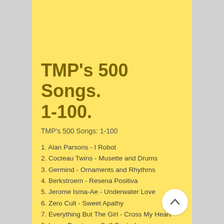TMP's 500 Songs. 1-100.
TMP's 500 Songs: 1-100
1. Alan Parsons - I Robot
2. Cocteau Twins - Musette and Drums
3. Germind - Ornaments and Rhythms
4. Berkstroem - Resena Positiva
5. Jerome Isma-Ae - Underwater Love
6. Zero Cult - Sweet Apathy
7. Everything But The Girl - Cross My Heart
8. Laura Branigan - Self Control
9. Jens Buchert - Causality
10. New Order - Dream Attack
11. Nancy Sinatra - These Boots Are Made